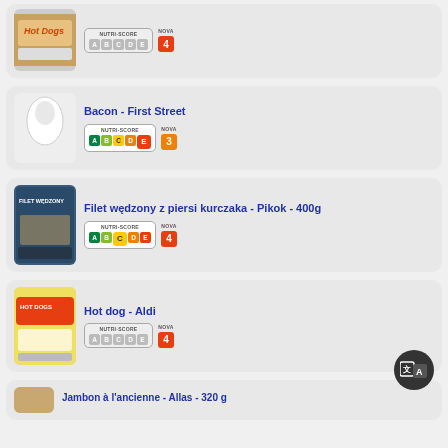[Figure (screenshot): Product listing page showing food items with Nutri-Score and NOVA ratings]
Hot Dogs - top partial card with NUTRI-SCORE ABCDE (unrated) and NOVA 4
Bacon - First Street, NUTRI-SCORE E, NOVA 3
Filet wędzony z piersi kurczaka - Pikok - 400g, NUTRI-SCORE C, NOVA 4
Hot dog - Aldi, NUTRI-SCORE ABCDE (unrated), NOVA 4
Jambon à l'ancienne - Allas - 320 g (partial)